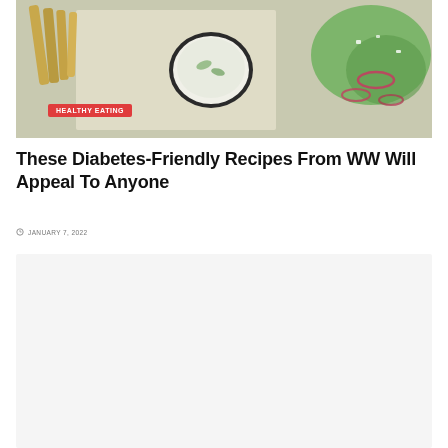[Figure (photo): Food photo showing roasted vegetables, a bowl of creamy dip/tzatziki, and a salad with red onions on a light background. A red 'HEALTHY EATING' badge overlays the bottom-left of the image.]
These Diabetes-Friendly Recipes From WW Will Appeal To Anyone
JANUARY 7, 2022